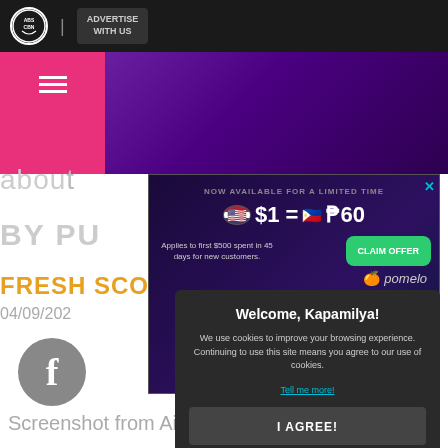[Figure (screenshot): ABS-CBN website screenshot showing a top navigation bar with ABS-CBN logo and 'Advertise With Us' button, a pink hamburger menu, a purple gradient banner, partially visible text 'about' and 'BY PU', an advertisement popup showing '$1 = ₱60 Pomelo currency exchange offer with CLAIM OFFER button', a 'FRESH SCOOPS' section header in orange, date '04/09/202', a Facebook share button, a cookie consent modal saying 'Welcome, Kapamilya!' with cookie policy text and 'I AGREE!' button, and at the bottom 'Screenshot from Aivee Day YouTube' caption text.]